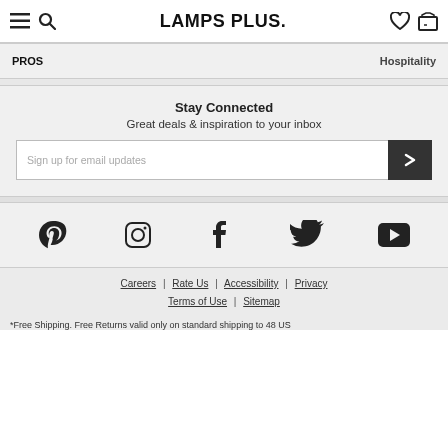LAMPS PLUS
PROS  |  Hospitality
Stay Connected
Great deals & inspiration to your inbox
Sign up for email updates
[Figure (other): Social media icons: Pinterest, Instagram, Facebook, Twitter, YouTube]
Careers | Rate Us | Accessibility | Privacy | Terms of Use | Sitemap
*Free Shipping. Free Returns valid only on standard shipping to 48 US